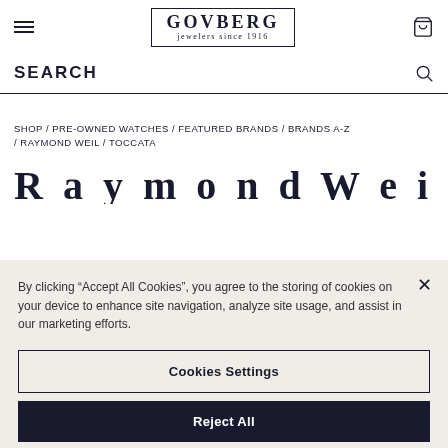GOVBERG jewelers since 1916
SEARCH
SHOP / PRE-OWNED WATCHES / FEATURED BRANDS / BRANDS A-Z / RAYMOND WEIL / TOCCATA
Raymond Weil
By clicking “Accept All Cookies”, you agree to the storing of cookies on your device to enhance site navigation, analyze site usage, and assist in our marketing efforts.
Cookies Settings
Reject All